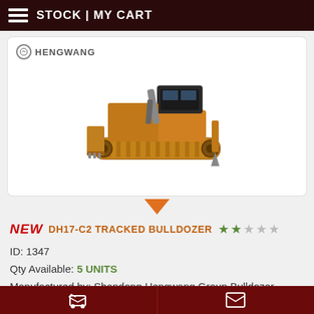STOCK | MY CART
[Figure (photo): Photo of a yellow Hengwang DH17-C2 tracked bulldozer on white background, with Hengwang brand logo in top left of image card]
NEW  DH17-C2 TRACKED BULLDOZER
ID: 1347
Qty Available: 5 UNITS
Manufactured by: Shandong Hengwang Group Bulldozer